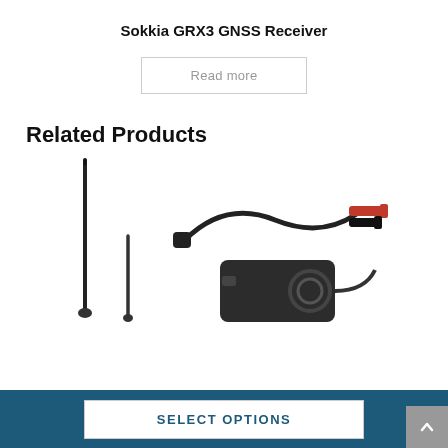Sokkia GRX3 GNSS Receiver
Read more
Related Products
[Figure (photo): Two antenna products (tall whip antenna on left, shorter antenna on right) for GNSS/radio use, shown against white background]
[Figure (photo): Power cable/charger accessory with red and black alligator clips and a black power adapter block]
SELECT OPTIONS